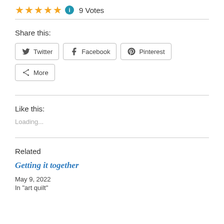[Figure (other): Five gold star rating icons followed by a blue info icon and '9 Votes' text]
Share this:
[Figure (other): Social share buttons: Twitter, Facebook, Pinterest, More]
Like this:
Loading...
Related
Getting it together
May 9, 2022
In "art quilt"